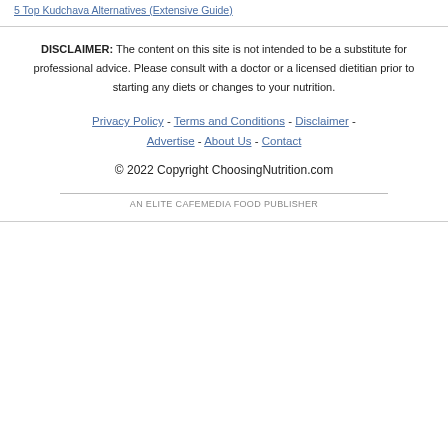5 Top Kudchava Alternatives (Extensive Guide)
DISCLAIMER: The content on this site is not intended to be a substitute for professional advice. Please consult with a doctor or a licensed dietitian prior to starting any diets or changes to your nutrition.
Privacy Policy - Terms and Conditions - Disclaimer - Advertise - About Us - Contact
© 2022 Copyright ChoosingNutrition.com
AN ELITE CAFEMEDIA FOOD PUBLISHER